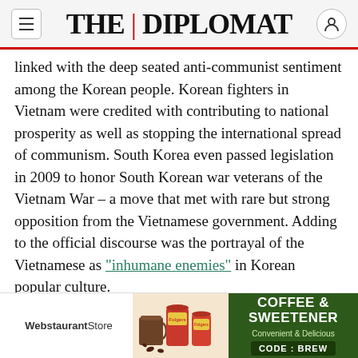THE DIPLOMAT
linked with the deep seated anti-communist sentiment among the Korean people. Korean fighters in Vietnam were credited with contributing to national prosperity as well as stopping the international spread of communism. South Korea even passed legislation in 2009 to honor South Korean war veterans of the Vietnam War – a move that met with rare but strong opposition from the Vietnamese government. Adding to the official discourse was the portrayal of the Vietnamese as "inhumane enemies" in Korean popular culture.
The South Korean government has never formally admitted to or apologized for massacres
[Figure (infographic): Advertisement banner for WebstaurantStore featuring Folgers coffee products with text 'COFFEE & SWEETENER - Convenient & Delicious - CODE: BREW' on a dark green background]